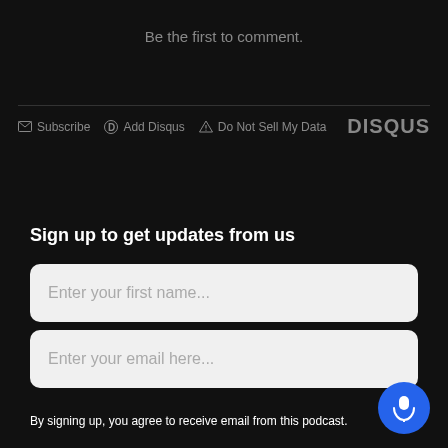Be the first to comment.
Subscribe  Add Disqus  Do Not Sell My Data  DISQUS
Sign up to get updates from us
Enter your first name...
Enter your email here...
By signing up, you agree to receive email from this podcast.